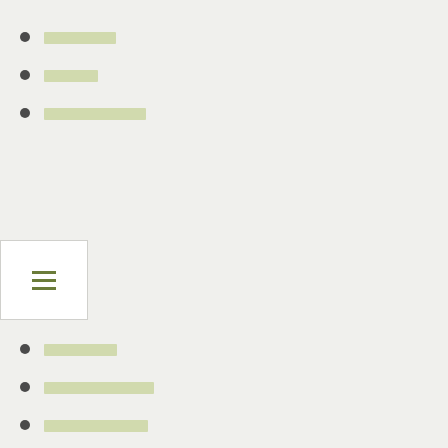[redacted]
[redacted]
[redacted]
[Figure (other): Hamburger menu icon (three horizontal lines) in a white box with border]
[redacted]
[redacted]
[redacted]
[redacted]
[redacted]
[redacted]
[redacted]
[redacted]
[redacted]
[redacted]